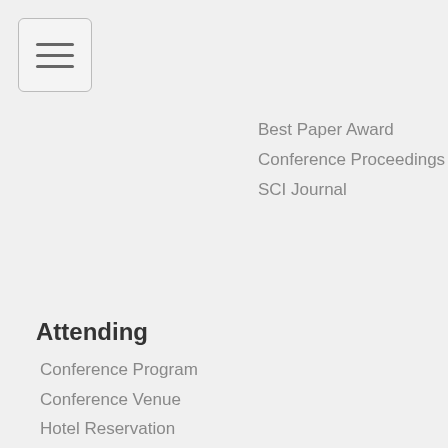[Figure (other): Hamburger menu button icon with three horizontal lines inside a rounded rectangle border]
Best Paper Award
Conference Proceedings
SCI Journal
Attending
Conference Program
Conference Venue
Hotel Reservation
About Wulumuqi
Sightseeing in Wulumuqi
Travel to Wulumuqi
Visa Information
Committee
Organizing Committee
Program Committee